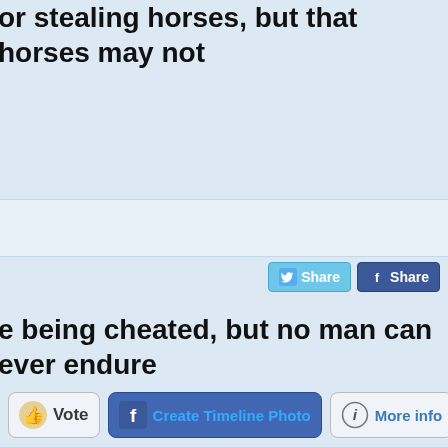or stealing horses, but that horses may not
[Figure (screenshot): Vote button with thumbs up icon]
[Figure (screenshot): Create Timeline Photo button with Facebook icon]
[Figure (screenshot): More info button with info icon]
[Figure (screenshot): Twitter Share button]
[Figure (screenshot): Facebook Share button]
e being cheated, but no man can ever endure
[Figure (screenshot): Vote button with thumbs up icon]
[Figure (screenshot): Create Timeline Photo button with Facebook icon]
[Figure (screenshot): More info button with info icon]